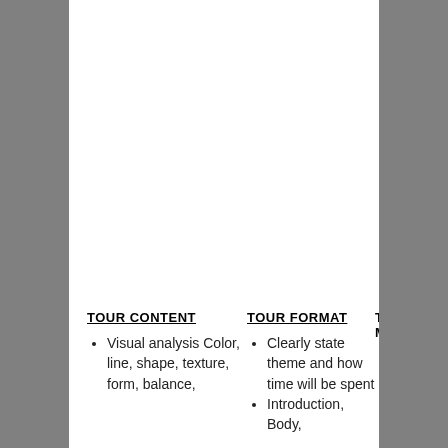TOUR CONTENT
TOUR FORMAT
TO MECH
Visual analysis Color, line, shape, texture, form, balance,
Clearly state theme and how time will be spent
Introduction, Body,
Welc
Expl mod mus rule